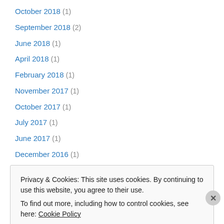October 2018 (1)
September 2018 (2)
June 2018 (1)
April 2018 (1)
February 2018 (1)
November 2017 (1)
October 2017 (1)
July 2017 (1)
June 2017 (1)
December 2016 (1)
October 2016 (1)
August 2016 (2)
June 2016 (1)
Privacy & Cookies: This site uses cookies. By continuing to use this website, you agree to their use. To find out more, including how to control cookies, see here: Cookie Policy